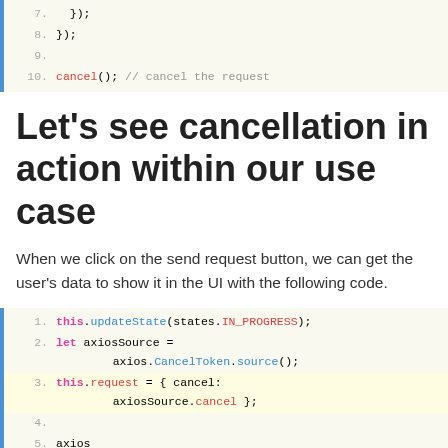[Figure (screenshot): Code block showing lines 7-10 with cancel() call. Line 10 highlighted in red: cancel(); // cancel the request]
Let's see cancellation in action within our use case
When we click on the send request button, we can get the user's data to show it in the UI with the following code.
[Figure (screenshot): Code block showing lines 1-5. Line 1: this.updateState(states.IN_PROGRESS); Line 2: let axiosSource = axios.CancelToken.source(); Line 3 (highlighted): this.request = { cancel: axiosSource.cancel }; Line 4: (empty) Line 5: axios]